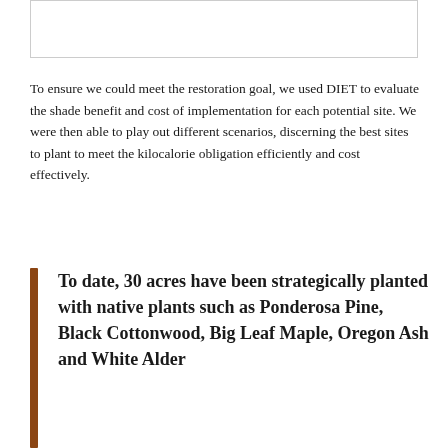[Figure (photo): Image placeholder at top of page]
To ensure we could meet the restoration goal, we used DIET to evaluate the shade benefit and cost of implementation for each potential site. We were then able to play out different scenarios, discerning the best sites to plant to meet the kilocalorie obligation efficiently and cost effectively.
To date, 30 acres have been strategically planted with native plants such as Ponderosa Pine, Black Cottonwood, Big Leaf Maple, Oregon Ash and White Alder